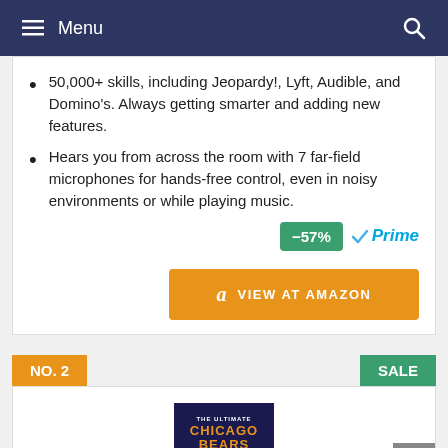Menu
50,000+ skills, including Jeopardy!, Lyft, Audible, and Domino's. Always getting smarter and adding new features.
Hears you from across the room with 7 far-field microphones for hands-free control, even in noisy environments or while playing music.
-57% Prime VIEW AT AMAZON
NO. 2
SALE
[Figure (photo): Book cover: The Ultimate Chicago Bears Trivia Book with orange title on dark navy background]